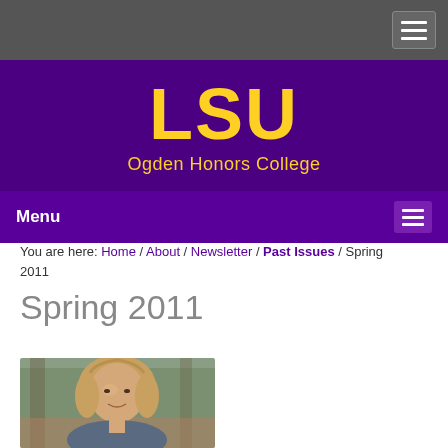LSU Ogden Honors College
You are here: Home / About / Newsletter / Past Issues / Spring 2011
Spring 2011
[Figure (photo): Photo of a woman with blonde hair outdoors near brick building]